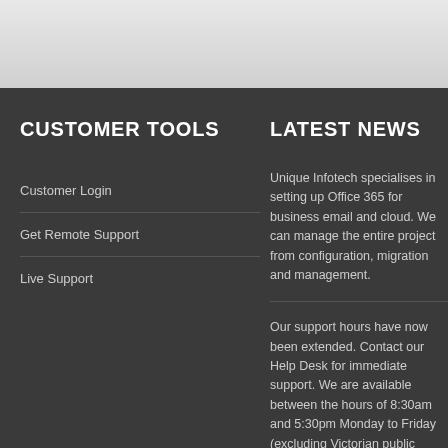CUSTOMER TOOLS
Customer Login
Get Remote Support
Live Support
LATEST NEWS
Unique Infotech specialises in setting up Office 365 for business email and cloud. We can manage the entire project from configuration, migration and management.
Our support hours have now been extended. Contact our Help Desk for immediate support. We are available between the hours of 8:30am and 5:30pm Monday to Friday (excluding Victorian public holidays).
Need a new Domain, SSL Certificate, Web Hosting Package or Internet Service Provider?